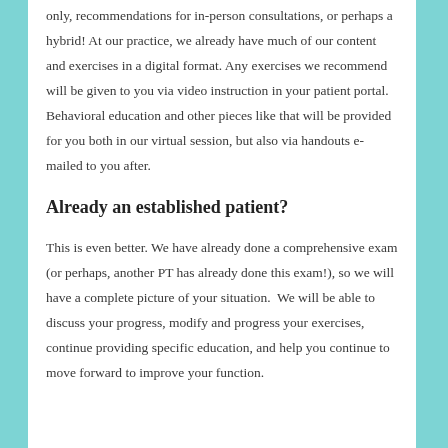only, recommendations for in-person consultations, or perhaps a hybrid! At our practice, we already have much of our content and exercises in a digital format. Any exercises we recommend will be given to you via video instruction in your patient portal. Behavioral education and other pieces like that will be provided for you both in our virtual session, but also via handouts e-mailed to you after.
Already an established patient?
This is even better. We have already done a comprehensive exam (or perhaps, another PT has already done this exam!), so we will have a complete picture of your situation. We will be able to discuss your progress, modify and progress your exercises, continue providing specific education, and help you continue to move forward to improve your function.